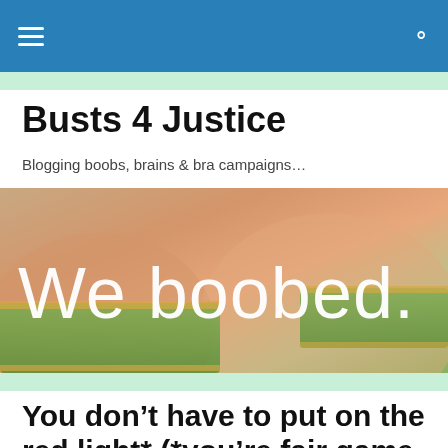Busts 4 Justice
Blogging boobs, brains & bra campaigns…
[Figure (photo): Banner image showing a green bra strap with decorative trim against skin, overlaid with the text 'We boobed.' in white thin font]
You don't have to put on the red light* (*you're fair game anyway)